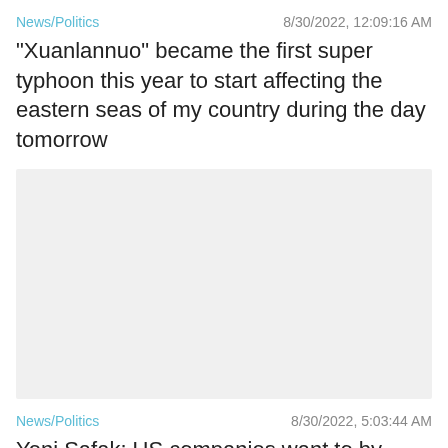News/Politics   8/30/2022, 12:09:16 AM
"Xuanlannuo" became the first super typhoon this year to start affecting the eastern seas of my country during the day tomorrow
[Figure (photo): Gray placeholder image area]
News/Politics   8/30/2022, 5:03:44 AM
Yeni Safak: US companies want to by sanctions and trade with Russia through Turkey